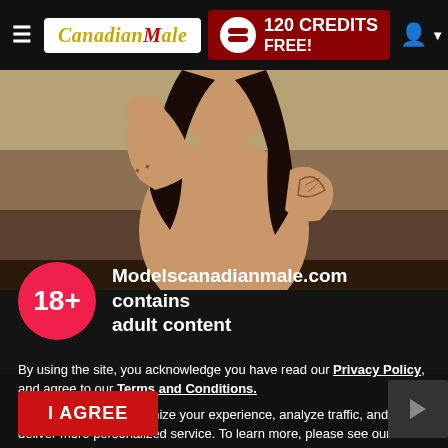[Figure (screenshot): Website navigation bar for CanadianMale with hamburger menu, logo, 120 CREDITS FREE banner, and user icon]
[Figure (photo): Muscular person with long dark hair flexing arm, tattoos visible, shirtless, against a beige/tan wall background]
Modelscanadianmale.com contains adult content
By using the site, you acknowledge you have read our Privacy Policy, and agree to our Terms and Conditions.
We use cookies to optimize your experience, analyze traffic, and deliver more personalized service. To learn more, please see our Privacy Policy.
I AGREE